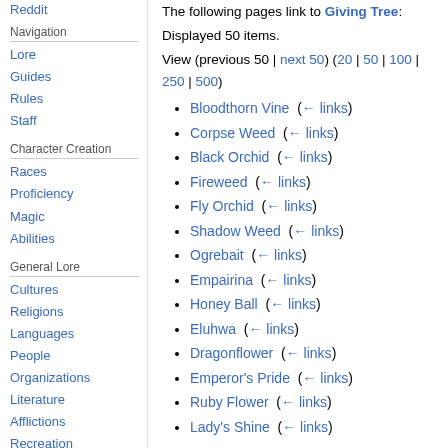Reddit
Navigation
Lore
Guides
Rules
Staff
Character Creation
Races
Proficiency
Magic
Abilities
General Lore
Cultures
Religions
Languages
People
Organizations
Literature
Afflictions
Recreation
The following pages link to Giving Tree:
Displayed 50 items.
View (previous 50 | next 50) (20 | 50 | 100 | 250 | 500)
Bloodthorn Vine  (← links)
Corpse Weed  (← links)
Black Orchid  (← links)
Fireweed  (← links)
Fly Orchid  (← links)
Shadow Weed  (← links)
Ogrebait  (← links)
Empairina  (← links)
Honey Ball  (← links)
Eluhwa  (← links)
Dragonflower  (← links)
Emperor's Pride  (← links)
Ruby Flower  (← links)
Lady's Shine  (← links)